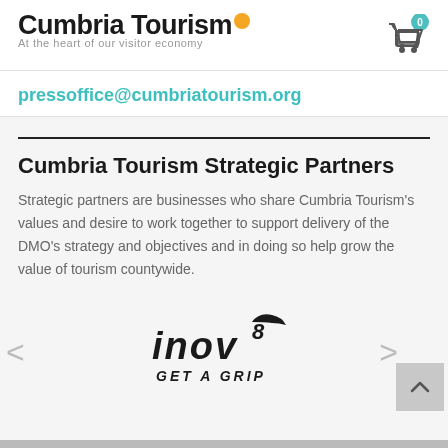[Figure (logo): Cumbria Tourism logo with orange circle dot and tagline 'At the heart of our visitor economy']
[Figure (other): Shopping cart icon with teal badge showing 0]
pressoffice@cumbriatourism.org
Cumbria Tourism Strategic Partners
Strategic partners are businesses who share Cumbria Tourism's values and desire to work together to support delivery of the DMO's strategy and objectives and in doing so help grow the value of tourism countywide.
[Figure (logo): Inov-8 'GET A GRIP' logo in black italic font]